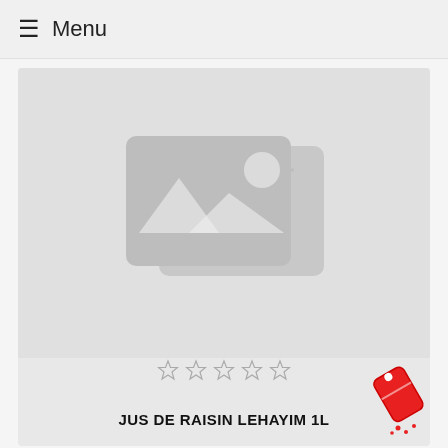Menu
[Figure (photo): Product image placeholder for JUS DE RAISIN LEHAYIM 1L — grey image placeholder icon with sun/mountains graphic]
JUS DE RAISIN LEHAYIM 1L
[Figure (photo): Partial product image at bottom of page showing top of a bottle with gold cap — discount/sale icon visible top right]
[Figure (illustration): Red discount/sale tag icon with dots suggesting salt or spice shaker]